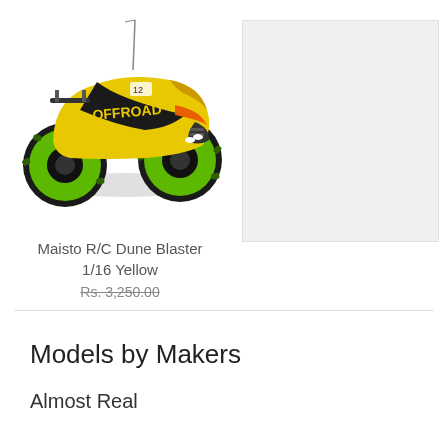[Figure (photo): Yellow Maisto R/C Dune Blaster 1/16 scale RC monster truck toy with large green knobby wheels and a radio antenna, viewed from a front-left angle on white background]
[Figure (photo): Light gray placeholder rectangle, likely a second product image slot]
Maisto R/C Dune Blaster
1/16 Yellow
Rs. 3,250.00
Models by Makers
Almost Real